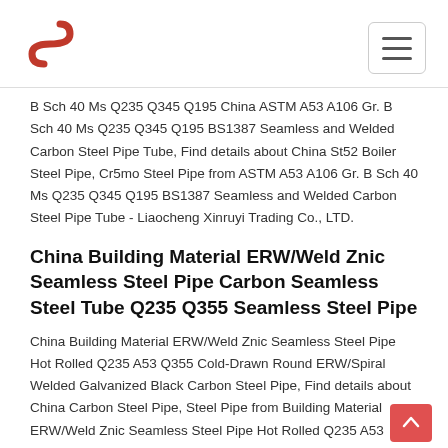Xinruyi Trading Co. — navigation header with logo
B Sch 40 Ms Q235 Q345 Q195 China ASTM A53 A106 Gr. B Sch 40 Ms Q235 Q345 Q195 BS1387 Seamless and Welded Carbon Steel Pipe Tube, Find details about China St52 Boiler Steel Pipe, Cr5mo Steel Pipe from ASTM A53 A106 Gr. B Sch 40 Ms Q235 Q345 Q195 BS1387 Seamless and Welded Carbon Steel Pipe Tube - Liaocheng Xinruyi Trading Co., LTD.
China Building Material ERW/Weld Znic Seamless Steel Pipe Carbon Seamless Steel Tube Q235 Q355 Seamless Steel Pipe
China Building Material ERW/Weld Znic Seamless Steel Pipe Hot Rolled Q235 A53 Q355 Cold-Drawn Round ERW/Spiral Welded Galvanized Black Carbon Steel Pipe, Find details about China Carbon Steel Pipe, Steel Pipe from Building Material ERW/Weld Znic Seamless Steel Pipe Hot Rolled Q235 A53 Q355 Cold-Drawn Round ERW/Spiral Welded Galvanized Black Carbon China Cold/Hot Rolled Sch40 Sch80 Sch160 ASTM A53